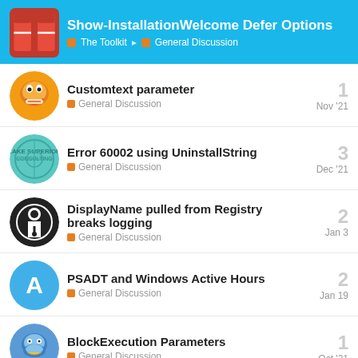Show-InstallationWelcome Defer Options — The Toolkit > General Discussion
Customtext parameter | General Discussion | Nov '21 | replies: 1
Error 60002 using UninstallString | General Discussion | Dec '21 | replies: 3
DisplayName pulled from Registry breaks logging | General Discussion | Jan 3 | replies: 2
PSADT and Windows Active Hours | General Discussion | Jan 19 | replies: 2
BlockExecution Parameters | General Discussion | Oct '21 | replies: 1
Want to read more? Browse other topics in